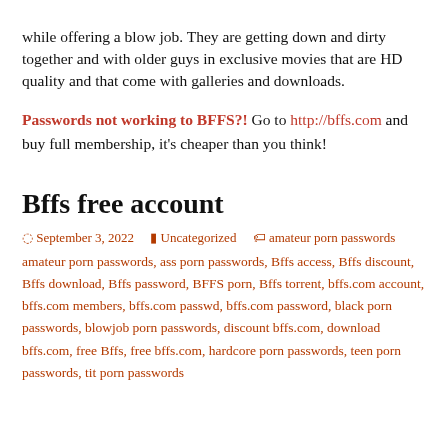while offering a blow job. They are getting down and dirty together and with older guys in exclusive movies that are HD quality and that come with galleries and downloads.
Passwords not working to BFFS?! Go to http://bffs.com and buy full membership, it's cheaper than you think!
Bffs free account
September 3, 2022   Uncategorized   amateur porn passwords, ass porn passwords, Bffs access, Bffs discount, Bffs download, Bffs password, BFFS porn, Bffs torrent, bffs.com account, bffs.com members, bffs.com passwd, bffs.com password, black porn passwords, blowjob porn passwords, discount bffs.com, download bffs.com, free Bffs, free bffs.com, hardcore porn passwords, teen porn passwords, tit porn passwords